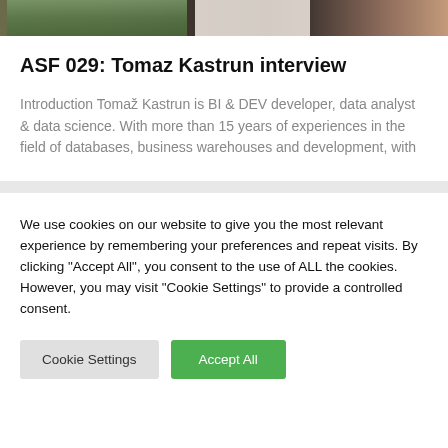[Figure (photo): Cropped banner image showing partial faces/figures with green and dark tones]
ASF 029: Tomaz Kastrun interview
Introduction Tomaž Kastrun is BI & DEV developer, data analyst & data science. With more than 15 years of experiences in the field of databases, business warehouses and development, with
We use cookies on our website to give you the most relevant experience by remembering your preferences and repeat visits. By clicking "Accept All", you consent to the use of ALL the cookies. However, you may visit "Cookie Settings" to provide a controlled consent.